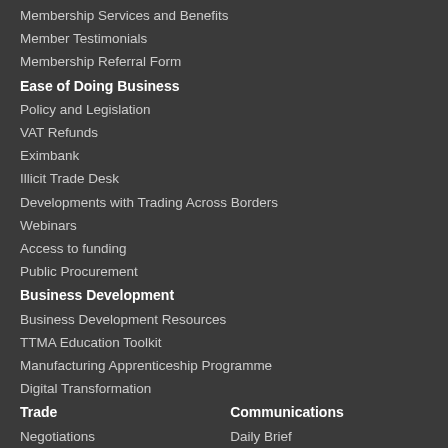Membership Services and Benefits
Member Testimonials
Membership Referral Form
Ease of Doing Business
Policy and Legislation
VAT Refunds
Eximbank
Illicit Trade Desk
Developments with Trading Across Borders
Webinars
Access to funding
Public Procurement
Business Development
Business Development Resources
TTMA Education Toolkit
Manufacturing Apprenticeship Programme
Digital Transformation
Trade
Negotiations
Legislation
CARICOM Updates
Extra-Regional Updates
Export Promotion
Communications
Daily Brief
Publications
Press Releases
Media
Event Speeches